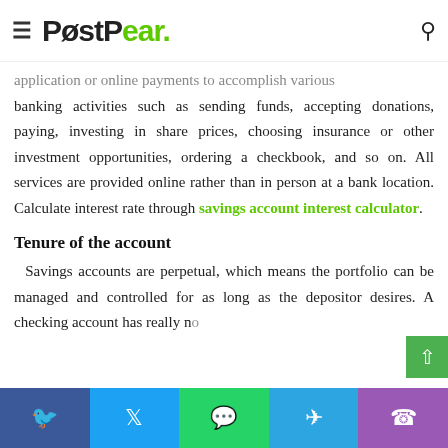PostPear (logo)
application or online payments to accomplish various banking activities such as sending funds, accepting donations, paying, investing in share prices, choosing insurance or other investment opportunities, ordering a checkbook, and so on. All services are provided online rather than in person at a bank location. Calculate interest rate through savings account interest calculator.
Tenure of the account
Savings accounts are perpetual, which means the portfolio can be managed and controlled for as long as the depositor desires. A checking account has really no time limit, and so on...
Facebook Twitter WhatsApp Telegram Phone share buttons